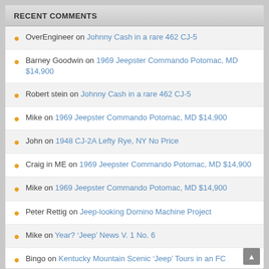RECENT COMMENTS
OverEngineer on Johnny Cash in a rare 462 CJ-5
Barney Goodwin on 1969 Jeepster Commando Potomac, MD $14,900
Robert stein on Johnny Cash in a rare 462 CJ-5
Mike on 1969 Jeepster Commando Potomac, MD $14,900
John on 1948 CJ-2A Lefty Rye, NY No Price
Craig in ME on 1969 Jeepster Commando Potomac, MD $14,900
Mike on 1969 Jeepster Commando Potomac, MD $14,900
Peter Rettig on Jeep-looking Domino Machine Project
Mike on Year? ‘Jeep’ News V. 1 No. 6
Bingo on Kentucky Mountain Scenic ‘Jeep’ Tours in an FC
Mike on 1947 CJ-2A Panama, NY $5000
David Eilers on New (Old) Drill Press
Robert Chase on New (Old) Drill Press